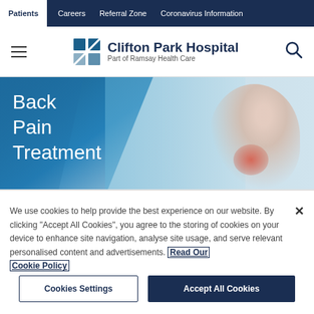Patients | Careers | Referral Zone | Coronavirus Information
Clifton Park Hospital — Part of Ramsay Health Care
[Figure (photo): Hero banner with 'Back Pain Treatment' heading over a blue diagonal background and a photo of a woman holding her lower back with a red pain highlight.]
We use cookies to help provide the best experience on our website. By clicking "Accept All Cookies", you agree to the storing of cookies on your device to enhance site navigation, analyse site usage, and serve relevant personalised content and advertisements. Read Our Cookie Policy